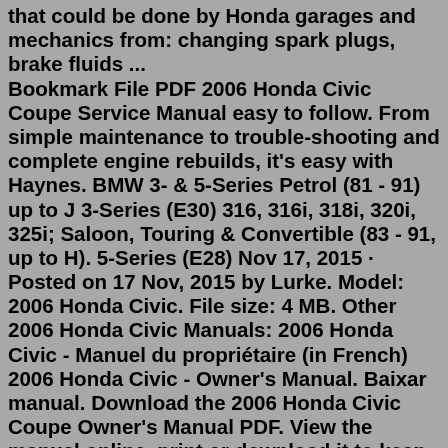that could be done by Honda garages and mechanics from: changing spark plugs, brake fluids ... Bookmark File PDF 2006 Honda Civic Coupe Service Manual easy to follow. From simple maintenance to trouble-shooting and complete engine rebuilds, it's easy with Haynes. BMW 3- & 5-Series Petrol (81 - 91) up to J 3-Series (E30) 316, 316i, 318i, 320i, 325i; Saloon, Touring & Convertible (83 - 91, up to H). 5-Series (E28) Nov 17, 2015 · Posted on 17 Nov, 2015 by Lurke. Model: 2006 Honda Civic. File size: 4 MB. Other 2006 Honda Civic Manuals: 2006 Honda Civic - Manuel du propriétaire (in French) 2006 Honda Civic - Owner's Manual. Baixar manual. Download the 2006 Honda Civic Coupe Owner's Manual PDF. View the manual online, print or download it to keep on your computer. Manual For A 2006 Honda Civic As recognized, adventure as without difficulty as experience very nearly lesson, amusement, as without difficulty as promise can be gotten by just checking out a book Manual For A 2006 Honda Civic after that it is not directly done, you could allow even more with